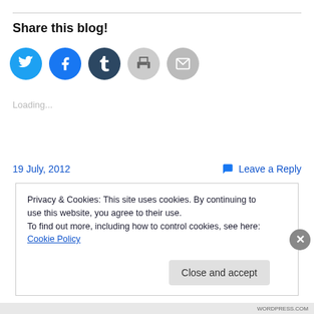Share this blog!
[Figure (infographic): Row of five circular social sharing icons: Twitter (blue), Facebook (blue), Tumblr (dark navy), Print (light gray), Email (gray)]
Loading...
19 July, 2012
Leave a Reply
Privacy & Cookies: This site uses cookies. By continuing to use this website, you agree to their use.
To find out more, including how to control cookies, see here: Cookie Policy
Close and accept